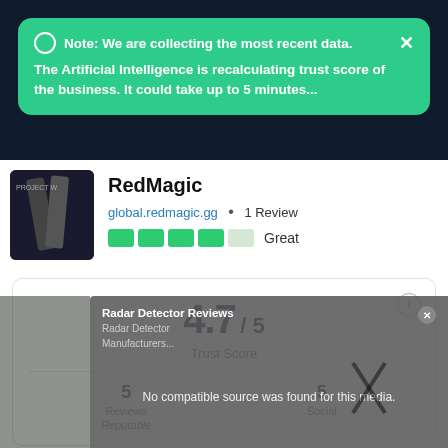Note: We are collecting the most recent data. The Artificial Intelligence is recalculating trust score of the business. It could take up to 5 minutes...
RedMagic
global.redmagic.gg  •  1 Review
Great
4.7 / 5  Trust Score
5  Reviews  Reputable
5  Social
Write a review
Radar Detector Reviews  No compatible source was found for this media.  Radar Detector Manufacturers...